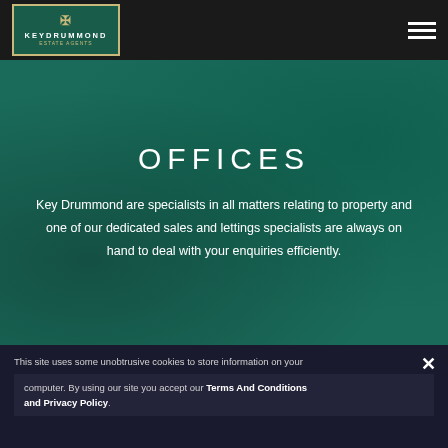[Figure (logo): Key Drummond Estate Agents logo — green box with gold border, crown/key icon in gold, white text KEYDRUMMOND, gold subtitle ESTATE AGENTS]
OFFICES
Key Drummond are specialists in all matters relating to property and one of our dedicated sales and lettings specialists are always on hand to deal with your enquiries efficiently.
This site uses some unobtrusive cookies to store information on your computer. By using our site you accept our Terms And Conditions and Privacy Policy.